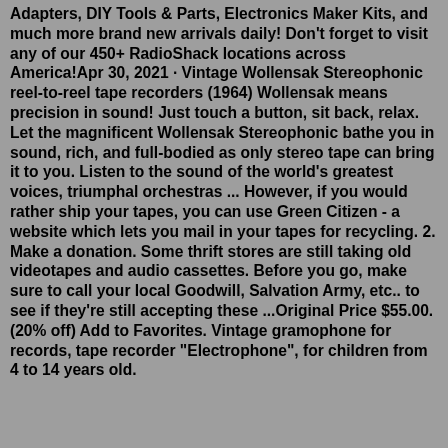Adapters, DIY Tools & Parts, Electronics Maker Kits, and much more brand new arrivals daily! Don't forget to visit any of our 450+ RadioShack locations across America!Apr 30, 2021 · Vintage Wollensak Stereophonic reel-to-reel tape recorders (1964) Wollensak means precision in sound! Just touch a button, sit back, relax. Let the magnificent Wollensak Stereophonic bathe you in sound, rich, and full-bodied as only stereo tape can bring it to you. Listen to the sound of the world's greatest voices, triumphal orchestras ... However, if you would rather ship your tapes, you can use Green Citizen - a website which lets you mail in your tapes for recycling. 2. Make a donation. Some thrift stores are still taking old videotapes and audio cassettes. Before you go, make sure to call your local Goodwill, Salvation Army, etc.. to see if they're still accepting these ...Original Price $55.00. (20% off) Add to Favorites. Vintage gramophone for records, tape recorder "Electrophone", for children from 4 to 14 years old.